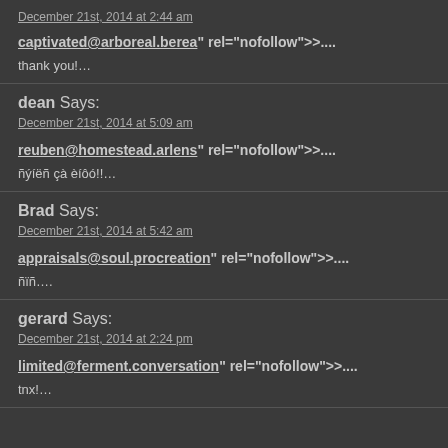December 21st, 2014 at 2:44 am
captivated@arboreal.berea" rel="nofollow">....
thank you!…
dean Says:
December 21st, 2014 at 5:09 am
reuben@homestead.arlens" rel="nofollow">....
ñýíëñ çà èíôó!!…
Brad Says:
December 21st, 2014 at 5:42 am
appraisals@soul.procreation" rel="nofollow">....
ñïñ….
gerard Says:
December 21st, 2014 at 2:24 pm
limited@ferment.conversation" rel="nofollow">....
tnx!…